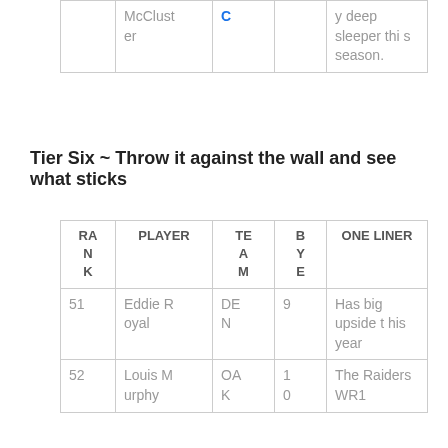|  | PLAYER | C |  | ONE LINER |
| --- | --- | --- | --- | --- |
|  | McCluster | C |  | y deep sleeper this season. |
Tier Six ~ Throw it against the wall and see what sticks
| RANK | PLAYER | TEAM | BYE | ONE LINER |
| --- | --- | --- | --- | --- |
| 51 | Eddie Royal | DEN | 9 | Has big upside this year |
| 52 | Louis Murphy | OAK | 10 | The Raiders WR1 |